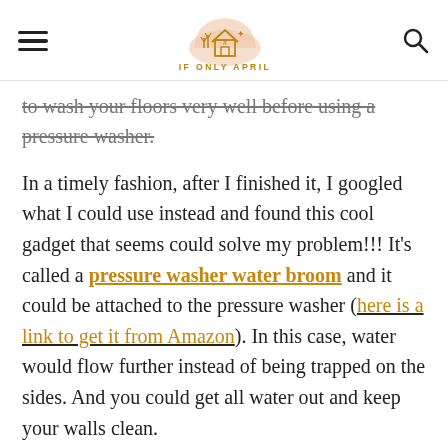IF ONLY APRIL
to wash your floors very well before using a pressure washer.
In a timely fashion, after I finished it, I googled what I could use instead and found this cool gadget that seems could solve my problem!!! It's called a pressure washer water broom and it could be attached to the pressure washer (here is a link to get it from Amazon). In this case, water would flow further instead of being trapped on the sides. And you could get all water out and keep your walls clean.